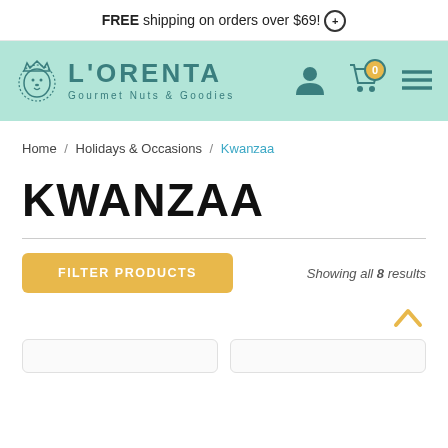FREE shipping on orders over $69!
[Figure (logo): L'Orenta Gourmet Nuts & Goodies logo with lion crown icon, teal color scheme on mint green background, with user account icon, cart with 0 items, and hamburger menu]
Home / Holidays & Occasions / Kwanzaa
KWANZAA
FILTER PRODUCTS   Showing all 8 results